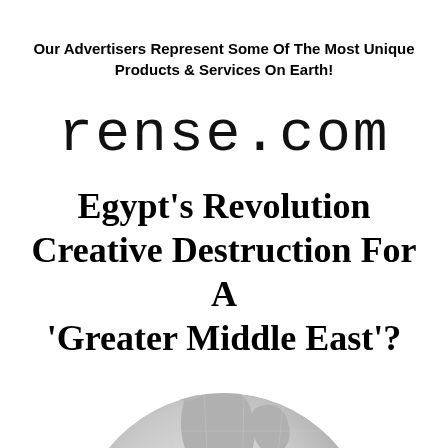Our Advertisers Represent Some Of The Most Unique Products & Services On Earth!
[Figure (logo): rense.com website logo in thin rounded sans-serif font]
Egypt's Revolution Creative Destruction For A 'Greater Middle East'?
[Figure (illustration): Partial globe/Earth illustration showing landmasses in grey halftone, visible from above the Middle East / Africa region]